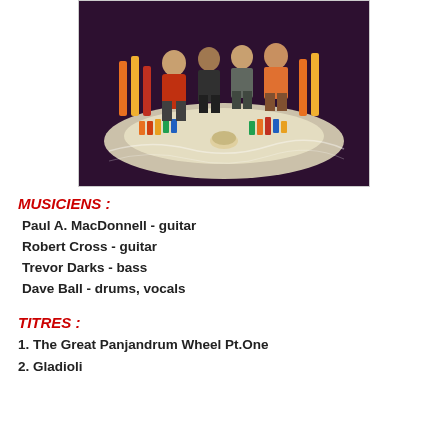[Figure (photo): A stylized 3D photo of four band members standing on a glowing platform with colorful instrument-like objects and equipment around them, dark purple background.]
MUSICIENS :
Paul A. MacDonnell - guitar
Robert Cross - guitar
Trevor Darks - bass
Dave Ball - drums, vocals
TITRES :
1. The Great Panjandrum Wheel Pt.One
2. Gladioli